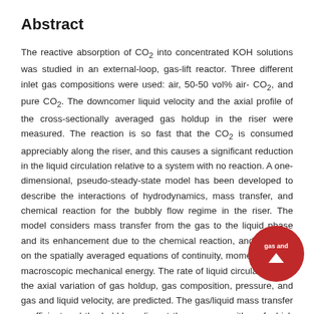Abstract
The reactive absorption of CO2 into concentrated KOH solutions was studied in an external-loop, gas-lift reactor. Three different inlet gas compositions were used: air, 50-50 vol% air-CO2, and pure CO2. The downcomer liquid velocity and the axial profile of the cross-sectionally averaged gas holdup in the riser were measured. The reaction is so fast that the CO2 is consumed appreciably along the riser, and this causes a significant reduction in the liquid circulation relative to a system with no reaction. A one-dimensional, pseudo-steady-state model has been developed to describe the interactions of hydrodynamics, mass transfer, and chemical reaction for the bubbly flow regime in the riser. The model considers mass transfer from the gas to the liquid phase and its enhancement due to the chemical reaction, and is based on the spatially averaged equations of continuity, momentum, and macroscopic mechanical energy. The rate of liquid circulation, and the axial variation of gas holdup, gas composition, pressure, and gas and liquid velocity, are predicted. The gas/liquid mass transfer coefficient and the bubble radius at the sparger, neither of which was known a priori, were used to minimize the error of the data